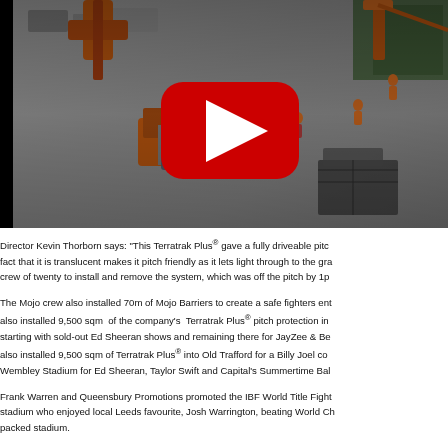[Figure (photo): Aerial/overhead view of a stadium pitch area with construction/event crew, orange forklift carrying metal barriers, orange crane boom visible, workers in high-vis jackets on grey concrete floor. YouTube play button overlay in center.]
Director Kevin Thorborn says: “This Terratrak Plus® gave a fully driveable pitch fact that it is translucent makes it pitch friendly as it lets light through to the gra crew of twenty to install and remove the system, which was off the pitch by 1p
The Mojo crew also installed 70m of Mojo Barriers to create a safe fighters ent also installed 9,500 sqm  of the company’s  Terratrak Plus® pitch protection in starting with sold-out Ed Sheeran shows and remaining there for JayZee & Be also installed 9,500 sqm of Terratrak Plus® into Old Trafford for a Billy Joel co Wembley Stadium for Ed Sheeran, Taylor Swift and Capital’s Summertime Bal
Frank Warren and Queensbury Promotions promoted the IBF World Title Fight stadium who enjoyed local Leeds favourite, Josh Warrington, beating World Ch packed stadium.